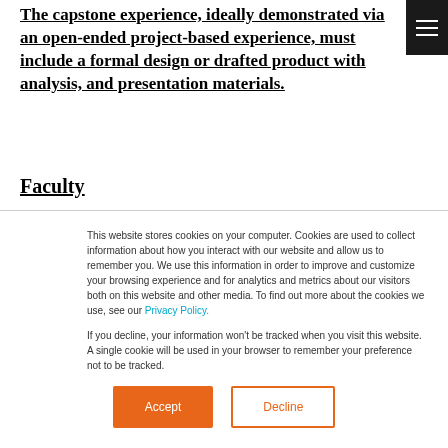The capstone experience, ideally demonstrated via an open-ended project-based experience, must include a formal design or drafted product with analysis, and presentation materials.
Faculty
This website stores cookies on your computer. Cookies are used to collect information about how you interact with our website and allow us to remember you. We use this information in order to improve and customize your browsing experience and for analytics and metrics about our visitors both on this website and other media. To find out more about the cookies we use, see our Privacy Policy.
If you decline, your information won't be tracked when you visit this website. A single cookie will be used in your browser to remember your preference not to be tracked.